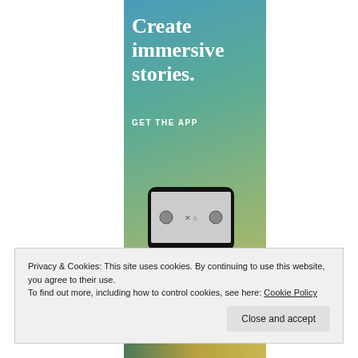[Figure (illustration): App advertisement banner with gradient background (blue-teal-green-yellow) showing text 'Create immersive stories.' and 'GET THE APP' call to action, with a phone mockup at the bottom]
Privacy & Cookies: This site uses cookies. By continuing to use this website, you agree to their use.
To find out more, including how to control cookies, see here: Cookie Policy
Close and accept